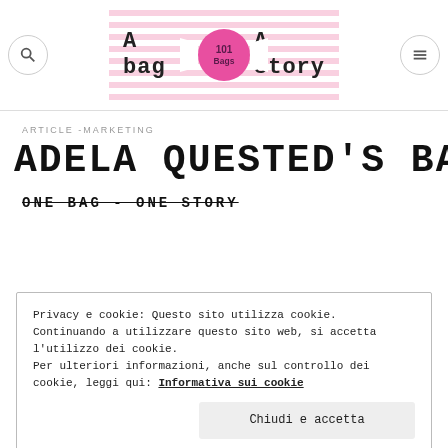A bag • 101 Bags • A story
ARTICLE -MARKETING
ADELA QUESTED'S BAG
ONE BAG - ONE STORY
Privacy e cookie: Questo sito utilizza cookie. Continuando a utilizzare questo sito web, si accetta l'utilizzo dei cookie. Per ulteriori informazioni, anche sul controllo dei cookie, leggi qui: Informativa sui cookie
Chiudi e accetta